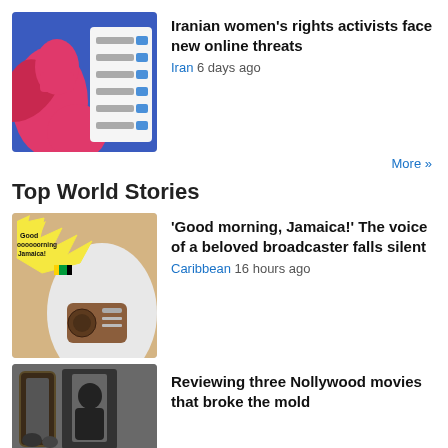[Figure (illustration): Iranian women's rights article thumbnail showing a stylized graphic with red and blue shapes and a login/password form mockup]
Iranian women's rights activists face new online threats
Iran  6 days ago
More »
Top World Stories
[Figure (photo): Photo of person holding a vintage radio with 'Good morning oooooorning Jamaica!' comic-style text overlay]
'Good morning, Jamaica!' The voice of a beloved broadcaster falls silent
Caribbean  16 hours ago
[Figure (photo): Black and white photo of a person in a doorway]
Reviewing three Nollywood movies that broke the mold